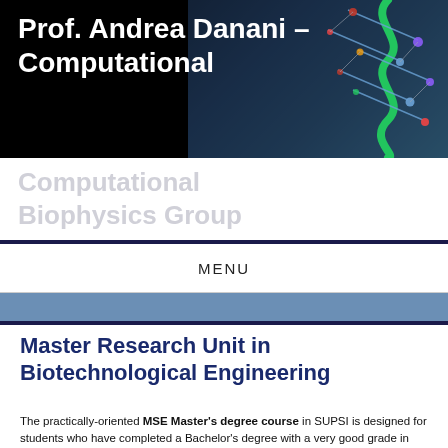[Figure (photo): Website header banner with dark background and molecular/DNA visualization on the right side]
Prof. Andrea Danani – Computational Biophysics Group
MENU
Master Research Unit in Biotechnological Engineering
The practically-oriented MSE Master's degree course in SUPSI is designed for students who have completed a Bachelor's degree with a very good grade in the fields of engineering sciences and information technology and offers students a wide range of options. Among the different reserch field